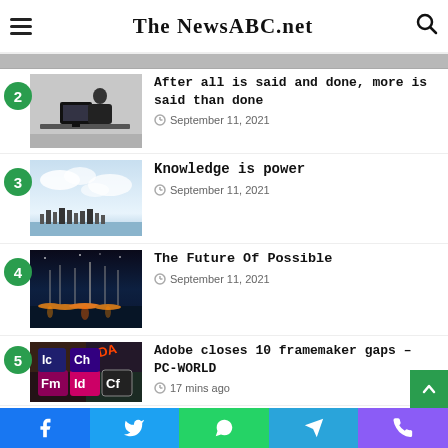The NewsABC.net
2 - After all is said and done, more is said than done - September 11, 2021
3 - Knowledge is power - September 11, 2021
4 - The Future Of Possible - September 11, 2021
5 - Adobe closes 10 framemaker gaps – PC-WORLD - 17 mins ago
Facebook | Twitter | WhatsApp | Telegram | Phone